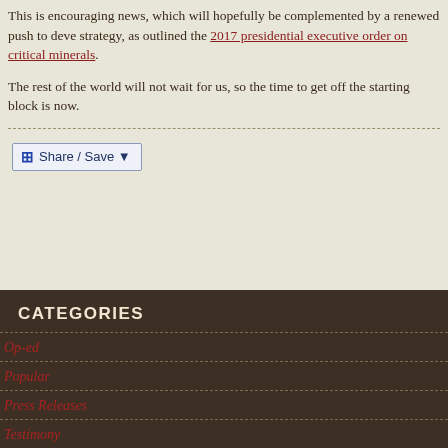This is encouraging news, which will hopefully be complemented by a renewed push to develop strategy, as outlined the 2017 presidential executive order on critical minerals.
The rest of the world will not wait for us, so the time to get off the starting block is now.
[Figure (other): Share / Save button widget]
CATEGORIES
Op-ed
Popular
Press Releases
Testimony